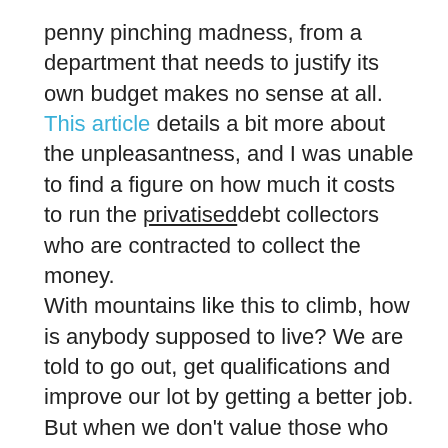penny pinching madness, from a department that needs to justify its own budget makes no sense at all. This article details a bit more about the unpleasantness, and I was unable to find a figure on how much it costs to run the privatiseddebt collectors who are contracted to collect the money.
With mountains like this to climb, how is anybody supposed to live? We are told to go out, get qualifications and improve our lot by getting a better job. But when we don't value those who serve our drinks, empty our bins, clean our hotel rooms, listen to our interminable moaning on telephone helplines and stack our shelves enough to even accept that they have real jobs. Then something is properly fucked. Most people in those careers (and they are careers) have to work more than one job to make ends meet, and are too tired after all the working to take